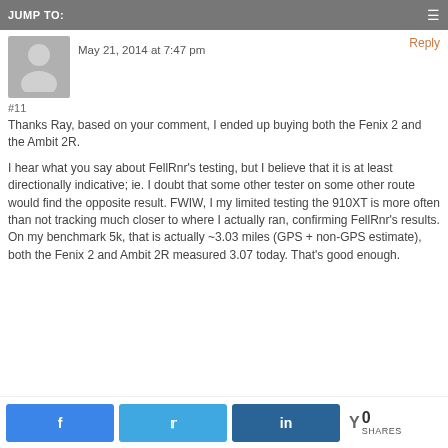JUMP TO:
Reply
May 21, 2014 at 7:47 pm
#11
Thanks Ray, based on your comment, I ended up buying both the Fenix 2 and the Ambit 2R.
I hear what you say about FellRnr's testing, but I believe that it is at least directionally indicative; ie. I doubt that some other tester on some other route would find the opposite result. FWIW, I my limited testing the 910XT is more often than not tracking much closer to where I actually ran, confirming FellRnr's results. On my benchmark 5k, that is actually ~3.03 miles (GPS + non-GPS estimate), both the Fenix 2 and Ambit 2R measured 3.07 today. That's good enough.
0 SHARES